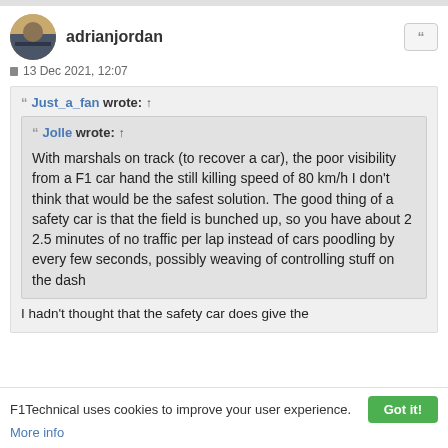adrianjordan
13 Dec 2021, 12:07
Just_a_fan wrote: ↑

Jolle wrote: ↑

With marshals on track (to recover a car), the poor visibility from a F1 car hand the still killing speed of 80 km/h I don't think that would be the safest solution. The good thing of a safety car is that the field is bunched up, so you have about 2 2.5 minutes of no traffic per lap instead of cars poodling by every few seconds, possibly weaving of controlling stuff on the dash

I hadn't thought that the safety car does give the
F1Technical uses cookies to improve your user experience. Got it!
More info